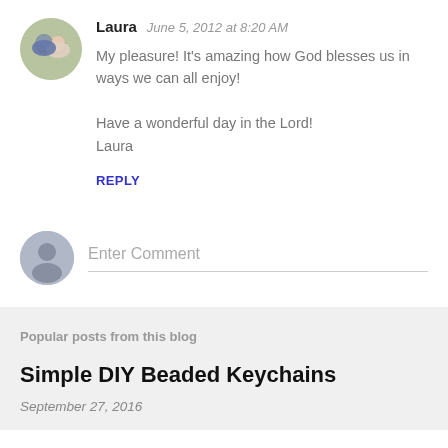Laura  June 5, 2012 at 8:20 AM
My pleasure! It's amazing how God blesses us in ways we can all enjoy!

Have a wonderful day in the Lord!
Laura
REPLY
Enter Comment
Popular posts from this blog
Simple DIY Beaded Keychains
September 27, 2016